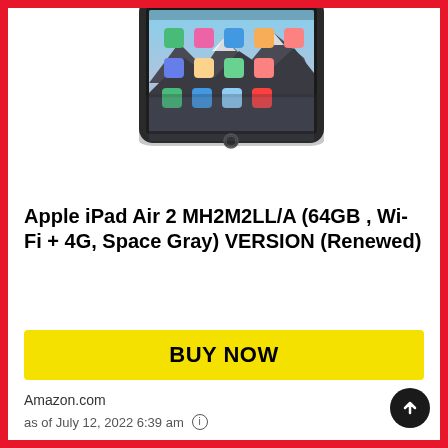[Figure (photo): Apple iPad Air 2 tablet shown from a slight angle, displaying iOS home screen with app icons and a mountain wallpaper. The device is Space Gray. A reflection of the iPad is visible below it.]
Apple iPad Air 2 MH2M2LL/A (64GB , Wi-Fi + 4G, Space Gray) VERSION (Renewed)
BUY NOW
Amazon.com
as of July 12, 2022 6:39 am ℹ